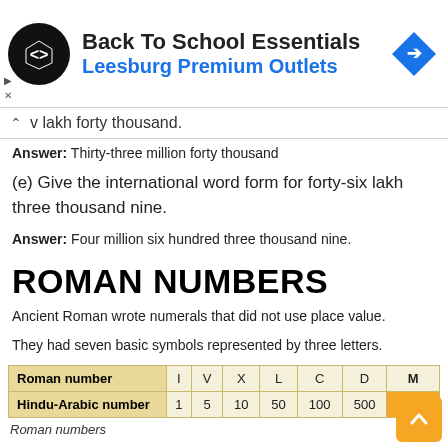[Figure (screenshot): Ad banner for Back To School Essentials at Leesburg Premium Outlets with logo and navigation icon]
v lakh forty thousand.
Answer: Thirty-three million forty thousand
(e) Give the international word form for forty-six lakh three thousand nine.
Answer: Four million six hundred three thousand nine.
ROMAN NUMBERS
Ancient Roman wrote numerals that did not use place value.
They had seven basic symbols represented by three letters.
| Roman number | I | V | X | L | C | D | M |
| --- | --- | --- | --- | --- | --- | --- | --- |
| Hindu-Arabic number | 1 | 5 | 10 | 50 | 100 | 500 | 1000 |
Roman numbers